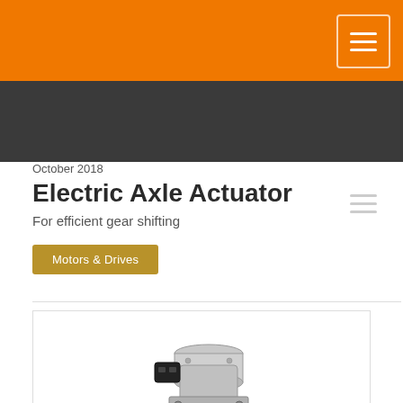Orange navigation bar with hamburger menu
Dark navigation bar with hamburger menu
October 2018
Electric Axle Actuator
For efficient gear shifting
Motors & Drives
[Figure (photo): Electric Axle Actuator product photo showing a silver/aluminum mechanical actuator unit with gears, a black electrical connector, and mounting brackets]